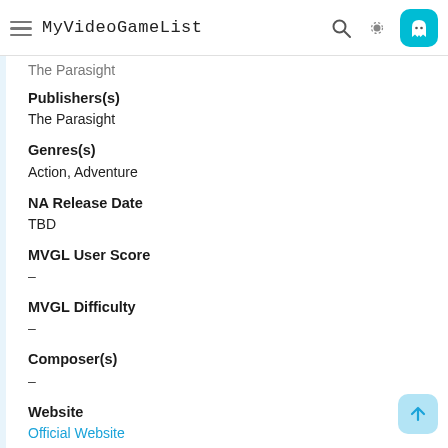MyVideoGameList
The Parasight
Publishers(s)
The Parasight
Genres(s)
Action, Adventure
NA Release Date
TBD
MVGL User Score
-
MVGL Difficulty
-
Composer(s)
-
Website
Official Website
Added by
0 User(s)
This game also exists on:
PC   Xbox Series X/S